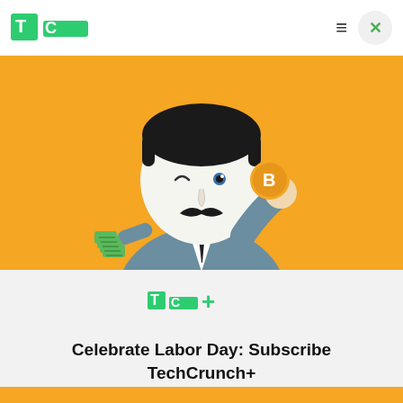TechCrunch header with logo and navigation
[Figure (illustration): Cartoon illustration of a mustachioed man in a suit holding a Bitcoin coin in one hand and a stack of green money bills in the other, against an orange background]
[Figure (logo): TechCrunch+ (TC+) logo in green]
Celebrate Labor Day: Subscribe TechCrunch+ Today Only for $90/Year.
GET OFFER NOW